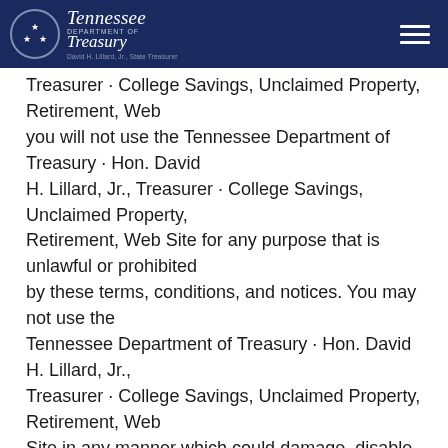Tennessee Department of Treasury · David H. Lillard, Jr., State Treasurer
Treasurer · College Savings, Unclaimed Property, Retirement, Web Site you will not use the Tennessee Department of Treasury · Hon. David H. Lillard, Jr., Treasurer · College Savings, Unclaimed Property, Retirement, Web Site for any purpose that is unlawful or prohibited by these terms, conditions, and notices. You may not use the Tennessee Department of Treasury · Hon. David H. Lillard, Jr., Treasurer · College Savings, Unclaimed Property, Retirement, Web Site in any manner which could damage, disable, overburden, or impair the Tennessee Department of Treasury · Hon. David H. Lillard, Jr., Treasurer · College Savings, Unclaimed Property, Retirement, Web Site or interfere with any other party's use and enjoyment of the Tennessee Department of Treasury · Hon. David H. Lillard, Jr., Treasurer · College Savings, Unclaimed Property, Retirement, Web Site. You may not obtain or attempt to obtain any materials or information through any means not intentionally made available or provided for through the Tennessee Department of Treasury · Hon.